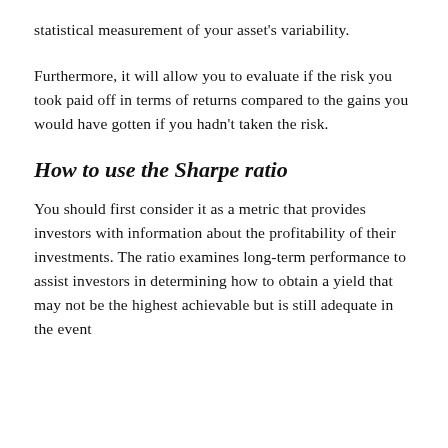statistical measurement of your asset's variability.
Furthermore, it will allow you to evaluate if the risk you took paid off in terms of returns compared to the gains you would have gotten if you hadn't taken the risk.
How to use the Sharpe ratio
You should first consider it as a metric that provides investors with information about the profitability of their investments. The ratio examines long-term performance to assist investors in determining how to obtain a yield that may not be the highest achievable but is still adequate in the event